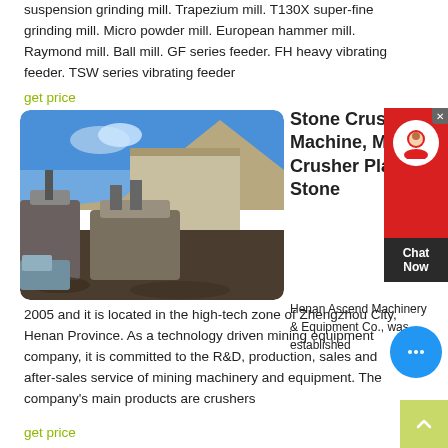suspension grinding mill. Trapezium mill. T130X super-fine grinding mill. Micro powder mill. European hammer mill. Raymond mill. Ball mill. GF series feeder. FH heavy vibrating feeder. TSW series vibrating feeder
get price
[Figure (photo): Outdoor stone crusher / mining equipment site with large concrete structures, heavy machinery, rocky terrain and blue sky]
Stone Crusher Machine, Mobile Crusher Plant, Stone
Henan Ascend Machinery & Equipment Co., was established 2005 and it is located in the high-tech zone of Zhengzhou City, Henan Province. As a technology driven mining equipment company, it is committed to the R&D, production, sales and after-sales service of mining machinery and equipment. The company's main products are crushers
get price